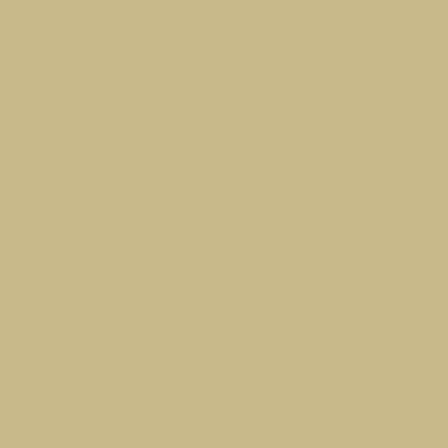[Figure (photo): ExtremeTerrain Off-Road Outfitters banner advertisement showing a blue Jeep Wrangler on forest terrain with logo text]
4x4Wire's TrailTal
4x4Wire TrailTalk > Forums > Kia Sportage & Sorento Tech > Long overdue pics of the Sporty(so far)
Forums  Calendar  Active Threads  Se
< Previous Thread
Print Thread  Rate Thread
Re: Long overdue pics of the Sporty(so far)  Re: Yankee_Tim
Hydra747 [offline]
Roll Me Over
★
Looks really awesome! <img src="/forums/images/graemlins/kewl.gif"